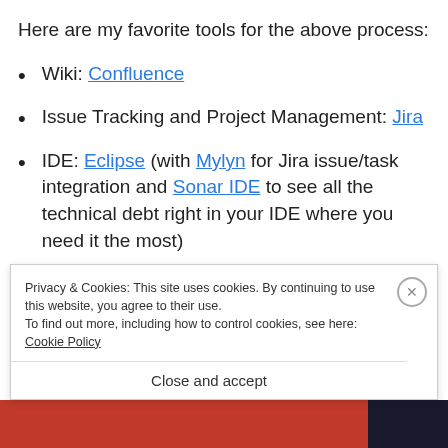Here are my favorite tools for the above process:
Wiki: Confluence
Issue Tracking and Project Management: Jira
IDE: Eclipse (with Mylyn for Jira issue/task integration and Sonar IDE to see all the technical debt right in your IDE where you need it the most)
VCS: Git/... (partial, obscured by cookie banner)
Privacy & Cookies: This site uses cookies. By continuing to use this website, you agree to their use.
To find out more, including how to control cookies, see here: Cookie Policy
Close and accept